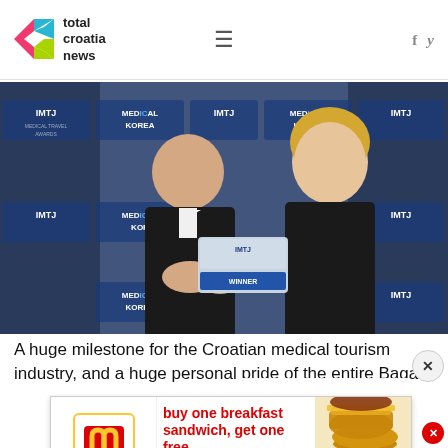total croatia news
[Figure (photo): Two people, a man in a tuxedo and a woman in a black dress, holding an IMTJ Medical Travel Awards trophy in front of an IMTJ Medical Korea backdrop.]
A huge milestone for the Croatian medical tourism industry, and a h[uge personal pride of the entire BagaT...
[Figure (other): McDonald's advertisement: buy one breakfast sandwich, get one free. Only in the app. Valid for product of equal or lesser value. Limited time only at participating McDonald's. Valid today. Excludes $1 $2 $3 Dollar Menu. Visit McD app for details. Download and registration required. ©2022 McDonald's]
[Figure (other): Subscribe To... Newsletter popup overlay]